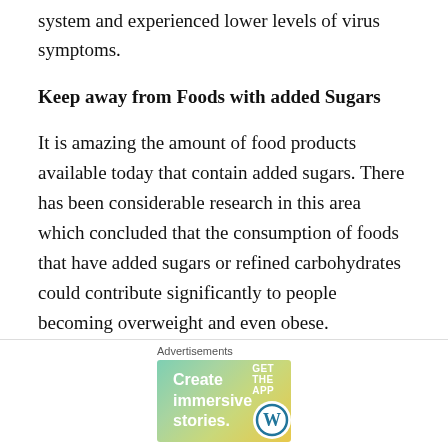system and experienced lower levels of virus symptoms.
Keep away from Foods with added Sugars
It is amazing the amount of food products available today that contain added sugars. There has been considerable research in this area which concluded that the consumption of foods that have added sugars or refined carbohydrates could contribute significantly to people becoming overweight and even obese.
If you are overweight or obese then this can reduce
[Figure (screenshot): Advertisement banner for WordPress app: 'Create immersive stories. GET THE APP' with WordPress logo, over a gradient green-yellow background. Includes close button (X) and 'Advertisements' label.]